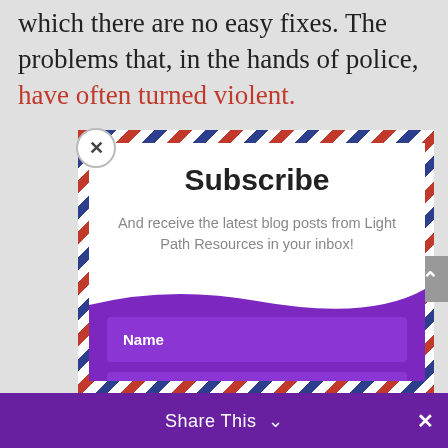which there are no easy fixes. The problems that, in the hands of police, have often turned violent.
[Figure (screenshot): Subscribe modal popup with airmail-style diagonal striped border. Contains a 'Subscribe' heading, subtitle 'And receive the latest blog posts from Light Path Resources in your inbox!', a purple background section with Name and Email input fields, and a white SUBSCRIBE! button.]
Subscribe
And receive the latest blog posts from Light Path Resources in your inbox!
Name
Email
SUBSCRIBE!
Share This  ∨